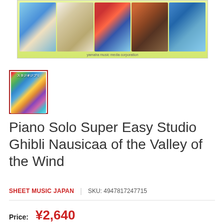[Figure (illustration): Yamaha Music Media Corporation banner showing 5 Studio Ghibli movie scenes with green/yellow striped background and text 'yamaha music media corporation']
[Figure (illustration): Small thumbnail of Studio Ghibli sheet music book cover with red border, showing スタジオジブリ text and colorful grid of film images]
Piano Solo Super Easy Studio Ghibli Nausicaa of the Valley of the Wind
SHEET MUSIC JAPAN   |   SKU: 4947817247715
Price: ¥2,640